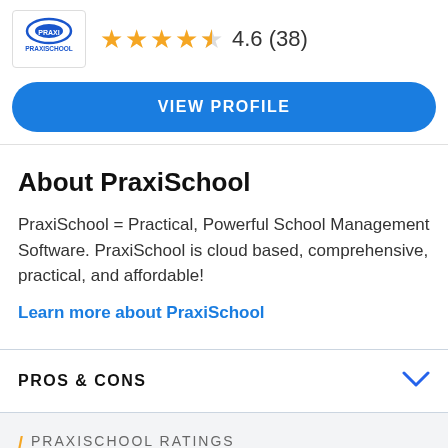[Figure (logo): PraxiSchool logo in a bordered box]
4.6 (38)
VIEW PROFILE
About PraxiSchool
PraxiSchool = Practical, Powerful School Management Software. PraxiSchool is cloud based, comprehensive, practical, and affordable!
Learn more about PraxiSchool
PROS & CONS
PRAXISCHOOL RATINGS